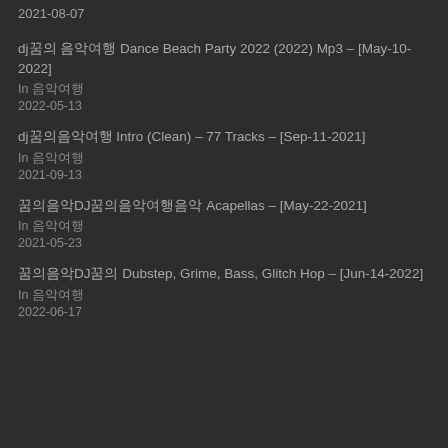2021-08-07
dj꿈의 음악여행 Dance Beach Party 2022 (2022) Mp3 – [May-10-2022]
In 음악여행
2022-05-13
dj꿈의음악여행 Intro (Clean) – 77 Tracks – [Sep-11-2021]
In 음악여행
2021-09-13
꿈의음악DJ꿈의음악여행음악 Acapellas – [May-22-2021]
In 음악여행
2021-05-23
꿈의음악DJ꿈의 Dubstep, Grime, Bass, Glitch Hop – [Jun-14-2022]
In 음악여행
2022-06-17